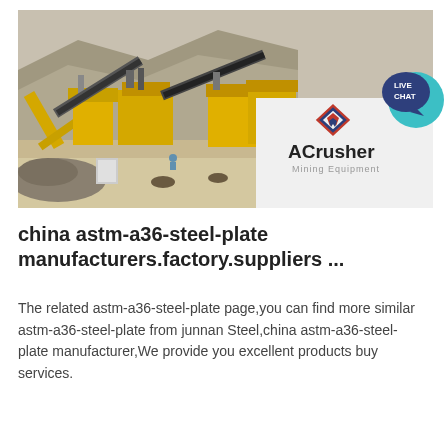[Figure (photo): Photograph of a mining/crushing plant with yellow heavy machinery and conveyor belts on a sandy/rocky site, with the ACrusher Mining Equipment logo overlaid in the lower right portion of the image area. A teal/navy 'LIVE CHAT' bubble appears in the upper right corner.]
china astm-a36-steel-plate manufacturers.factory.suppliers ...
The related astm-a36-steel-plate page,you can find more similar astm-a36-steel-plate from junnan Steel,china astm-a36-steel-plate manufacturer,We provide you excellent products buy services.